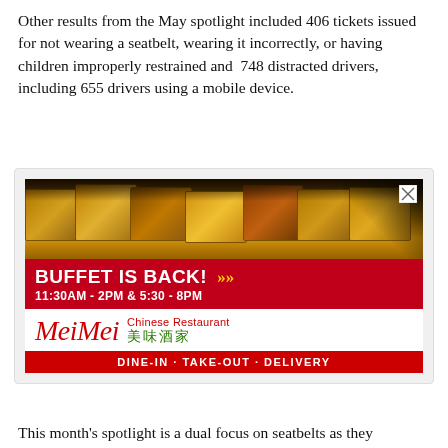Other results from the May spotlight included 406 tickets issued for not wearing a seatbelt, wearing it incorrectly, or having children improperly restrained and  748 distracted drivers, including 655 drivers using a mobile device.
[Figure (photo): Advertisement for MeiMei Chinese Restaurant showing a buffet spread of hot food trays with the text 'BUFFET IS BACK! 11:30AM - 2PM & 5:30 - 8PM' on a red banner, the MeiMei logo with Chinese characters, and 'DINE-IN · TAKE-OUT · DELIVERY' at the bottom.]
This month's spotlight is a dual focus on seatbelts as they